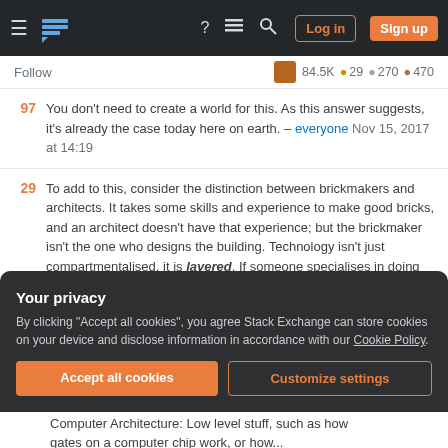Stack Exchange navigation bar with Log in and Sign up buttons
Follow   84.5K  29  270  470
97  You don't need to create a world for this. As this answer suggests, it's already the case today here on earth. – everyone Nov 15, 2017 at 14:19
29  To add to this, consider the distinction between brickmakers and architects. It takes some skills and experience to make good bricks, and an architect doesn't have that experience; but the brickmaker isn't the one who designs the building. Technology isn't just compartmentalised, it is layered. If someone specialises in doing the low-level stuff well, that allows someone else to work at the next layer where they use
Your privacy
By clicking "Accept all cookies", you agree Stack Exchange can store cookies on your device and disclose information in accordance with our Cookie Policy.
Accept all cookies   Customize settings
Computer Architecture: Low level stuff, such as how gates on a computer chip work, or how...